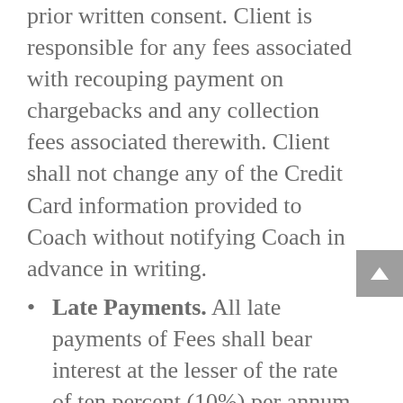credit card without Coach's prior written consent. Client is responsible for any fees associated with recouping payment on chargebacks and any collection fees associated therewith. Client shall not change any of the Credit Card information provided to Coach without notifying Coach in advance in writing.
Late Payments. All late payments of Fees shall bear interest at the lesser of the rate of ten percent (10%) per annum or the highest rate permissible under Nevada law, calculated daily and